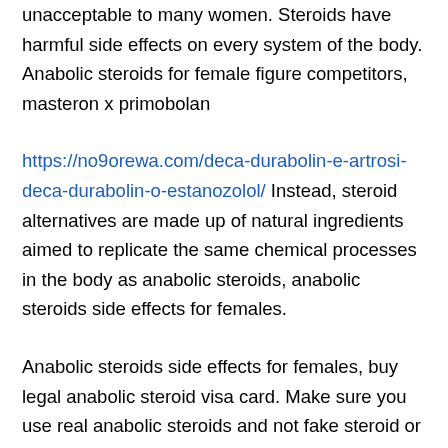unacceptable to many women. Steroids have harmful side effects on every system of the body. Anabolic steroids for female figure competitors, masteron x primobolan
https://no9orewa.com/deca-durabolin-e-artrosi-deca-durabolin-o-estanozolol/ Instead, steroid alternatives are made up of natural ingredients aimed to replicate the same chemical processes in the body as anabolic steroids, anabolic steroids side effects for females.
Anabolic steroids side effects for females, buy legal anabolic steroid visa card. Make sure you use real anabolic steroids and not fake steroid or anabolic supplements and make sure you learn how to properly use them, anabolic steroids vs hgh.